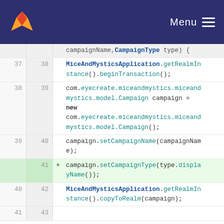[Figure (screenshot): GitLab navigation header with logo and Menu button]
campaignName,CampaignType type) {
37 38   MiceAndMysticsApplication.getRealmInstance().beginTransaction();
38 39   com.eyecreate.miceandmystics.miceandmystics.model.Campaign campaign = new com.eyecreate.miceandmystics.miceandmystics.model.Campaign();
39 40   campaign.setCampaignName(campaignName);
41 +   campaign.setCampaignType(type.displayName());
40 42   MiceAndMysticsApplication.getRealmInstance().copyToRealm(campaign);
41 43